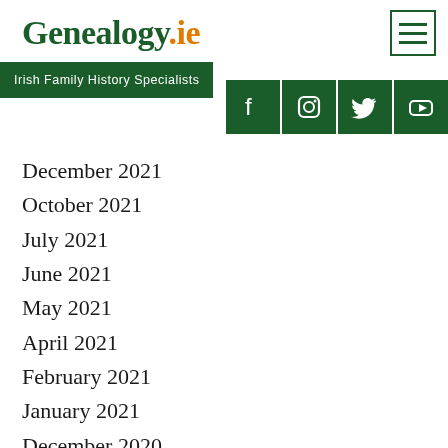Genealogy.ie
Irish Family History Specialists
[Figure (logo): Social media icons: Facebook, Instagram, Twitter, YouTube on dark green square backgrounds]
December 2021
October 2021
July 2021
June 2021
May 2021
April 2021
February 2021
January 2021
December 2020
November 2020
October 2020
September 2020
August 2020
July 2020